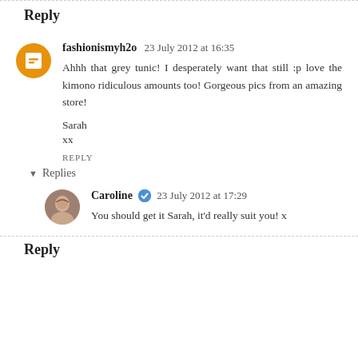Reply
fashionismyh2o  23 July 2012 at 16:35
Ahhh that grey tunic! I desperately want that still :p love the kimono ridiculous amounts too! Gorgeous pics from an amazing store!

Sarah
xx

REPLY
Replies
Caroline  23 July 2012 at 17:29
You should get it Sarah, it'd really suit you! x
Reply